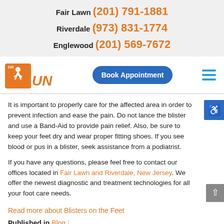Fair Lawn (201) 791-1881
Riverdale (973) 831-1774
Englewood (201) 569-7672
[Figure (logo): Dr. Run logo - orange runner figure with DR RUN text]
Book Appointment
It is important to properly care for the affected area in order to prevent infection and ease the pain. Do not lance the blister and use a Band-Aid to provide pain relief. Also, be sure to keep your feet dry and wear proper fitting shoes. If you see blood or pus in a blister, seek assistance from a podiatrist.
If you have any questions, please feel free to contact our offices located in Fair Lawn and Riverdale, New Jersey. We offer the newest diagnostic and treatment technologies for all your foot care needs.
Read more about Blisters on the Feet
Published in Blog